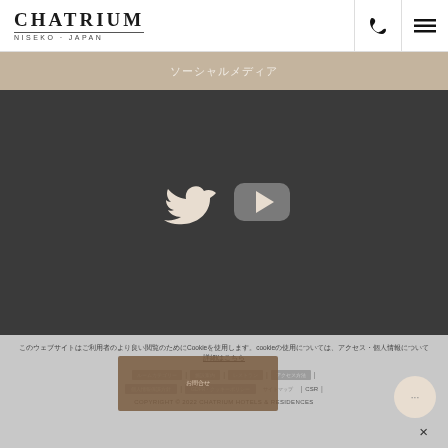CHATRIUM NISEKO · JAPAN
ソーシャルメディア
[Figure (screenshot): Dark section with Twitter bird icon and YouTube play button icon in white/beige on dark gray background]
このウェブサイトはCookieを使用します。cookieの使用については、アクセス・個人情報について
COPYRIGHT © 2022 CHATRIUM HOTELS & RESIDENCES